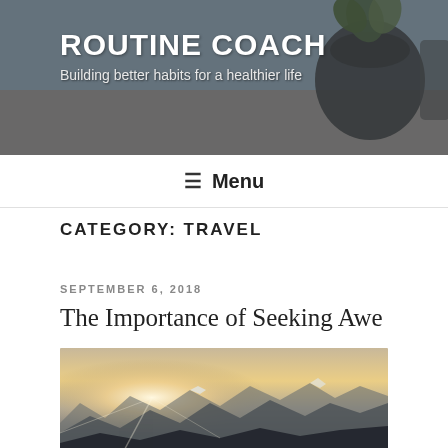ROUTINE COACH
Building better habits for a healthier life
≡ Menu
CATEGORY: TRAVEL
SEPTEMBER 6, 2018
The Importance of Seeking Awe
[Figure (photo): Aerial mountain landscape at sunrise/sunset with snow-capped peaks, golden light on the horizon, and layered mountain ridges receding into the distance]